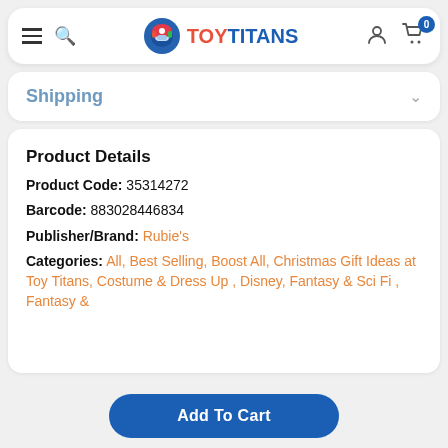TOY TITANS navigation bar with hamburger menu, search, logo, user icon, and cart (0)
Shipping
Product Details
Product Code: 35314272
Barcode: 883028446834
Publisher/Brand: Rubie's
Categories: All, Best Selling, Boost All, Christmas Gift Ideas at Toy Titans, Costume & Dress Up , Disney, Fantasy & Sci Fi , Fantasy &
Add To Cart